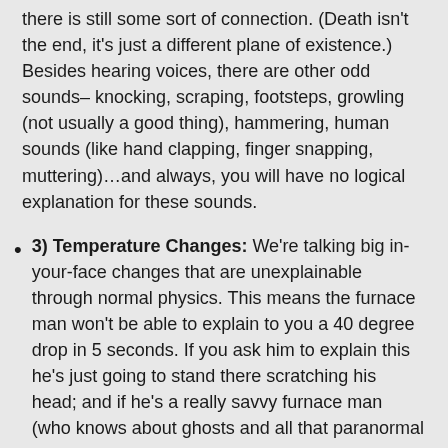there is still some sort of connection. (Death isn't the end, it's just a different plane of existence.) Besides hearing voices, there are other odd sounds– knocking, scraping, footsteps, growling (not usually a good thing), hammering, human sounds (like hand clapping, finger snapping, muttering)…and always, you will have no logical explanation for these sounds.
3) Temperature Changes: We're talking big in-your-face changes that are unexplainable through normal physics. This means the furnace man won't be able to explain to you a 40 degree drop in 5 seconds. If you ask him to explain this he's just going to stand there scratching his head; and if he's a really savvy furnace man (who knows about ghosts and all that paranormal stuff), he's liable to be throwing tools in his bag and scurrying from your house so fast all you see is the back of his head. I guess there are more